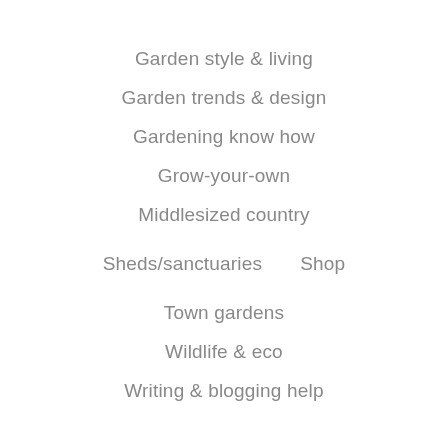Garden style & living
Garden trends & design
Gardening know how
Grow-your-own
Middlesized country
Sheds/sanctuaries    Shop
Town gardens
Wildlife & eco
Writing & blogging help